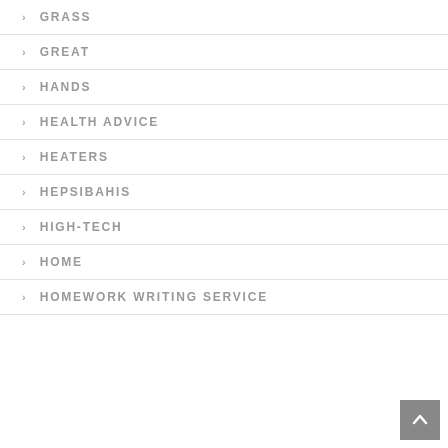GRASS
GREAT
HANDS
HEALTH ADVICE
HEATERS
HEPSIBAHIS
HIGH-TECH
HOME
HOMEWORK WRITING SERVICE